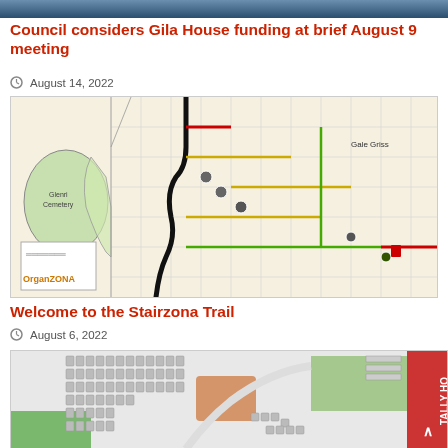[Figure (photo): Top blue/dark banner image strip]
Council considers Gila House funding at brief August 9 meeting
August 14, 2022
[Figure (map): Street map showing Stairzona Trail route marked with colored lines through a grid of streets, with a green cemetery area on the left, colored route markers (red, yellow, green), and an 'OrganZONA' logo in the bottom left corner]
Welcome to the Stairzona Trail
August 6, 2022
[Figure (map): Site plan/layout map showing a residential or commercial development with rows of parking or units, green areas, and a TALLY HO logo/button on the right side]